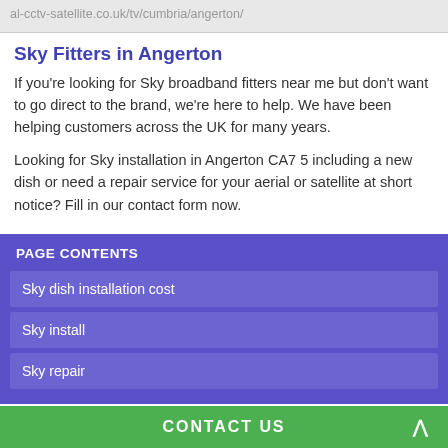al-cctv-satellite.co.uk/tv/cumbria/angerton/
Sky Fitters in Angerton
If you're looking for Sky broadband fitters near me but don't want to go direct to the brand, we're here to help. We have been helping customers across the UK for many years.
Looking for Sky installation in Angerton CA7 5 including a new dish or need a repair service for your aerial or satellite at short notice? Fill in our contact form now.
PAGE CONTENTS
Sky dish installation cost
Sky install
Sky repair
CONTACT US